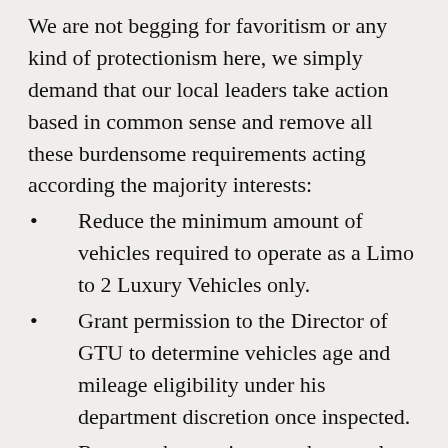We are not begging for favoritism or any kind of protectionism here, we simply demand that our local leaders take action based in common sense and remove all these burdensome requirements acting according the majority interests:
Reduce the minimum amount of vehicles required to operate as a Limo to 2 Luxury Vehicles only.
Grant permission to the Director of GTU to determine vehicles age and mileage eligibility under his department discretion once inspected.
Remove the requirement that regulate the way we must conduct our business that establishes to operate on a pre-arranged basis only.